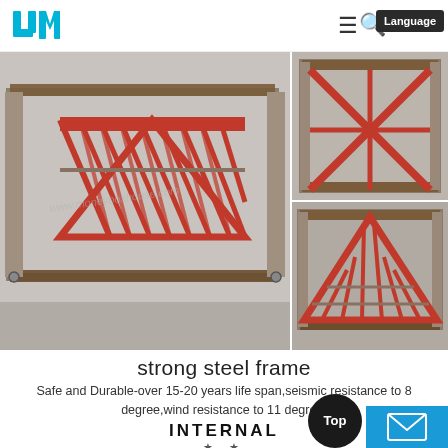[Figure (screenshot): Website navigation bar with LM logo (blue), hamburger menu, search icon, and Language button]
[Figure (photo): Main large image of a strong steel frame structure - a truss frame with red diagonal cross-bracing members inside a rectangular steel box frame. Watermark: www.moneyboxhouse.com]
[Figure (photo): Top thumbnail: overhead/top view of the steel frame structure with diagonal cross members]
[Figure (photo): Bottom thumbnail: end/side view of the steel frame showing the triangular truss pattern with red diagonal braces]
strong steel frame
Safe and Durable-over 15-20 years life span,seismic resistance to 8 degree,wind resistance to 11 degree.
INTERNAL
[Figure (photo): Interior room photo showing a living area with white walls, windows, and furnishings. Watermark: www.moneyboxhouse.com]
[Figure (photo): Interior room photo showing a bright room with windows and furnishings]